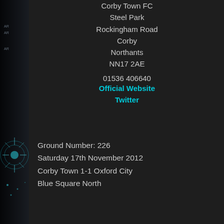[Figure (photo): Left strip showing a dark blue/black image with a glowing starburst or fireworks-like design and some text fragments visible]
Corby Town FC
Steel Park
Rockingham Road
Corby
Northants
NN17 2AE

01536 406640
Official Website
Twitter
Ground Number: 226
Saturday 17th November 2012
Corby Town 1-1 Oxford City
Blue Square North